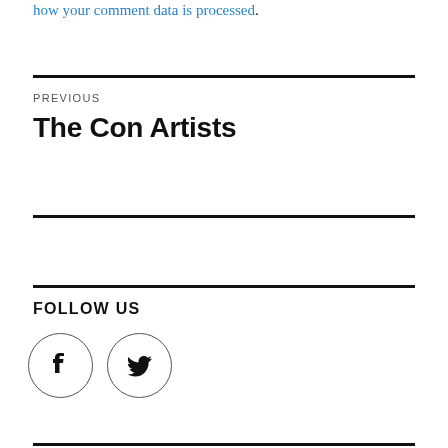how your comment data is processed.
PREVIOUS
The Con Artists
FOLLOW US
[Figure (illustration): Facebook icon in a circle and Twitter bird icon in a circle, social media follow buttons]